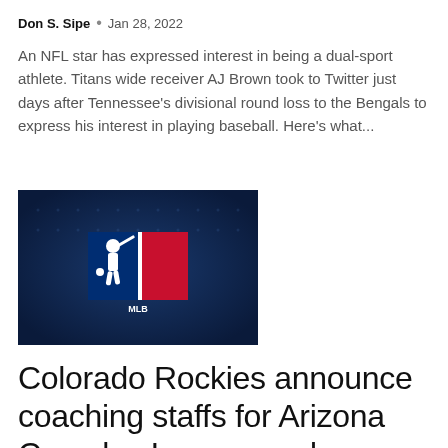Don S. Sipe • Jan 28, 2022
An NFL star has expressed interest in being a dual-sport athlete. Titans wide receiver AJ Brown took to Twitter just days after Tennessee's divisional round loss to the Bengals to express his interest in playing baseball. Here's what...
[Figure (photo): MLB logo on dark blue background with stadium lights]
Colorado Rockies announce coaching staffs for Arizona Complex League and Dominican Summer League